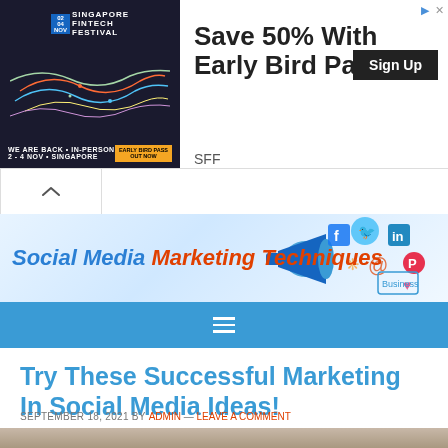[Figure (photo): Singapore Fintech Festival advertisement banner with dark background showing 'Save 50% With Early Bird Pass' headline, Sign Up button, and SFF label]
[Figure (logo): Social Media Marketing Techniques website banner with blue megaphone and social media icons]
☰
Try These Successful Marketing In Social Media Ideas!
SEPTEMBER 18, 2021 BY ADMIN — LEAVE A COMMENT
[Figure (photo): Partial photo visible at bottom of page]